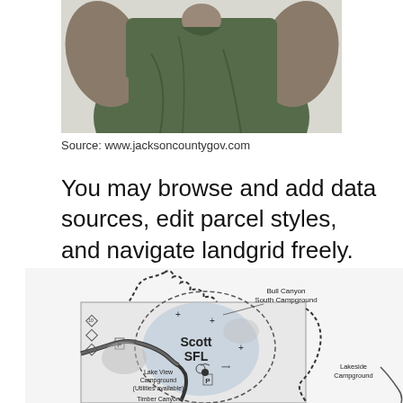[Figure (photo): Person wearing a dark olive/green t-shirt photographed from behind/side, arms raised slightly, showing back of shirt]
Source: www.jacksoncountygov.com
You may browse and add data sources, edit parcel styles, and navigate landgrid freely.
[Figure (map): Black and white map of Scott SFL area showing Bull Canyon South Campground, Lake View Campground (Utilities available), Timber Canyon Campground, Horse Unloading area, Horse Thief area, Lakeside Campground, with dotted boundary lines and road markings]